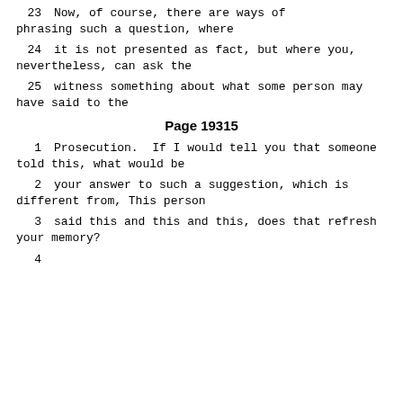23    Now, of course, there are ways of phrasing such a question, where
24    it is not presented as fact, but where you, nevertheless, can ask the
25    witness something about what some person may have said to the
Page 19315
1    Prosecution.  If I would tell you that someone told this, what would be
2    your answer to such a suggestion, which is different from, This person
3    said this and this and this, does that refresh your memory?
4    ...